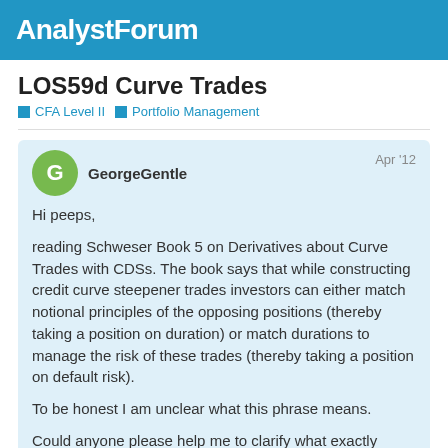AnalystForum
LOS59d Curve Trades
CFA Level II  Portfolio Management
GeorgeGentle  Apr '12

Hi peeps,

reading Schweser Book 5 on Derivatives about Curve Trades with CDSs. The book says that while constructing credit curve steepener trades investors can either match notional principles of the opposing positions (thereby taking a position on duration) or match durations to manage the risk of these trades (thereby taking a position on default risk).

To be honest I am unclear what this phrase means.

Could anyone please help me to clarify what exactly means to be a position on duration vs a position on default risk within this context?